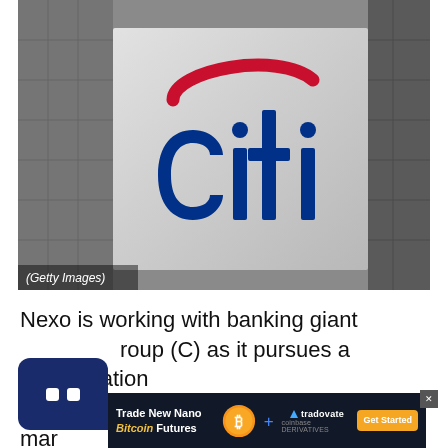[Figure (photo): Photograph of the Citigroup (Citi) logo sign on a building facade. The sign is a silver/metallic rectangular panel displaying the blue 'citi' wordmark with a red arc above the letter 'i'. The background shows a grey building exterior with grid-like panels. A photo credit caption reads '(Getty Images)' in the lower-left corner of the image.]
(Getty Images)
Nexo is working with banking giant Group (C) as it pursues a consolidation of o t mar